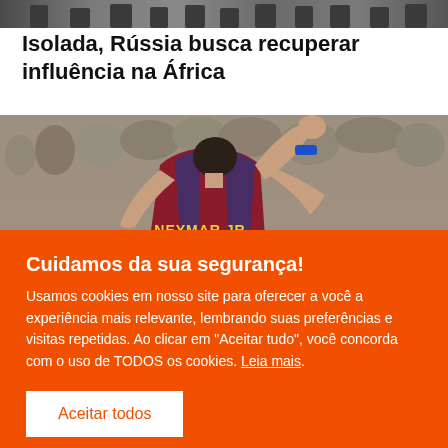[Figure (photo): Top strip photo of a group of people, partially visible at top of page]
Isolada, Rússia busca recuperar influência na África
[Figure (photo): Soccer player Neymar Jr wearing Barcelona jersey number 11, raising fist in celebration, crowd in background]
Cuidamos da sua segurança!
Usamos cookies em nosso site para oferecer a você a experiência mais relevante, lembrando suas preferências e visitas repetidas. Ao clicar em "Aceitar tudo", você concorda com o uso de TODOS os cookies. Leia mais.
Aceitar todos